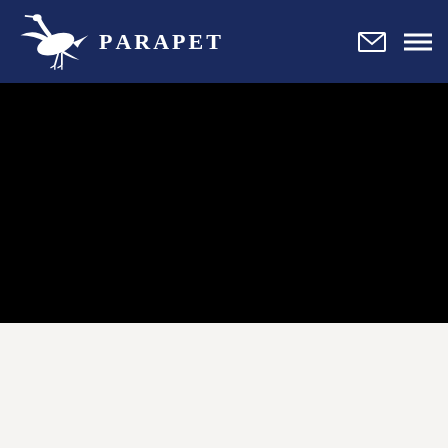Parapet
[Figure (illustration): Black hero/video section below the navigation header]
[Figure (illustration): Light gray/off-white section at the bottom of the page]